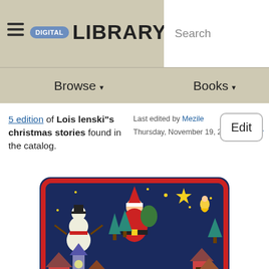≡ DIGITAL LIBRARY  Search
Browse ▾   Books ▾
5 edition of Lois lenski"s christmas stories found in the catalog.
Last edited by Mezile Thursday, November 19, 2020 | History
[Figure (photo): Book cover of Lois Lenski's Christmas Stories — dark navy background with Christmas illustrations (Santa, snowman, houses, trees, animals, angels, stars) and a white scroll area in the lower center with text 'Lois Lenski's CHRISTMAS STORIES' in red and green lettering.]